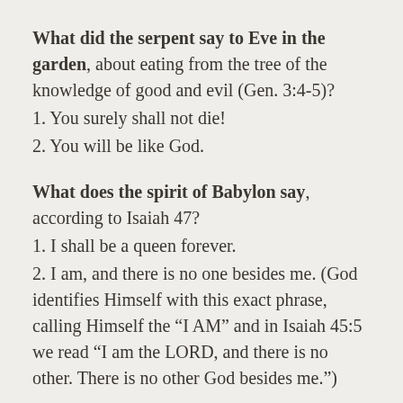What did the serpent say to Eve in the garden, about eating from the tree of the knowledge of good and evil (Gen. 3:4-5)?
1. You surely shall not die!
2. You will be like God.
What does the spirit of Babylon say, according to Isaiah 47?
1. I shall be a queen forever.
2. I am, and there is no one besides me. (God identifies Himself with this exact phrase, calling Himself the “I AM” and in Isaiah 45:5 we read “I am the LORD, and there is no other. There is no other God besides me.”)
Could it be that the Babylonian spirit is SO